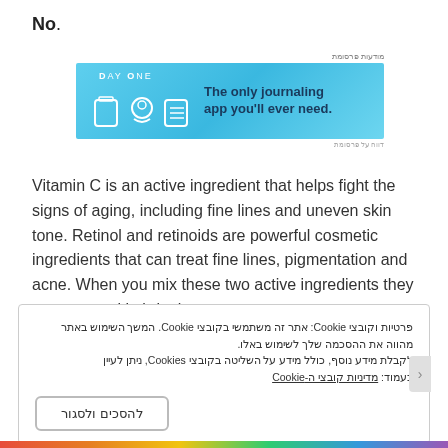No.
[Figure (screenshot): Advertisement banner for DayOne journaling app with light blue background. Shows app icons and text: 'The only journaling app you'll ever need.']
Vitamin C is an active ingredient that helps fight the signs of aging, including fine lines and uneven skin tone. Retinol and retinoids are powerful cosmetic ingredients that can treat fine lines, pigmentation and acne. When you mix these two active ingredients they can cause skin irritation.
פרטיות וקובצי Cookie: אתר זה משתמשי בקובצי Cookie. המשך השימוש באתר מהווה את ההסכמה שלך לשימוש באלו.
לקבלת מידע נוסף, כולל מידע על השליטה בקובצי Cookies, ניתן לעיין בעמוד: מדיניות קובצי ה-Cookie
להסכים ולסגור